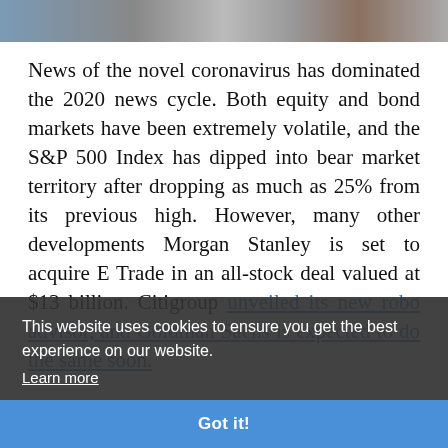[Figure (photo): Partial photo strip at top of page showing people or scene, dark and partially visible]
News of the novel coronavirus has dominated the 2020 news cycle. Both equity and bond markets have been extremely volatile, and the S&P 500 Index has dipped into bear market territory after dropping as much as 25% from its previous high. However, many other developments Morgan Stanley is set to acquire E Trade in an all-stock deal valued at $13 billion. Citigroup unveiled its new robo advisor, and Goldman Sachs is expected to do the same soon.
This website uses cookies to ensure you get the best experience on our website.
Learn more
Got it!